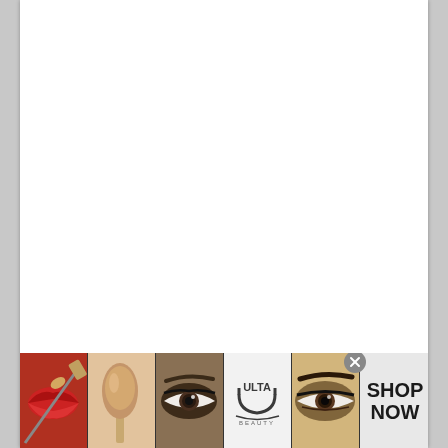Dynamite!! USA – The Event
[Figure (illustration): Ulta Beauty advertisement banner with makeup imagery: red lips with brush, makeup brush, smoky eye, Ulta Beauty logo, smoky eyes close-up, and SHOP NOW button]